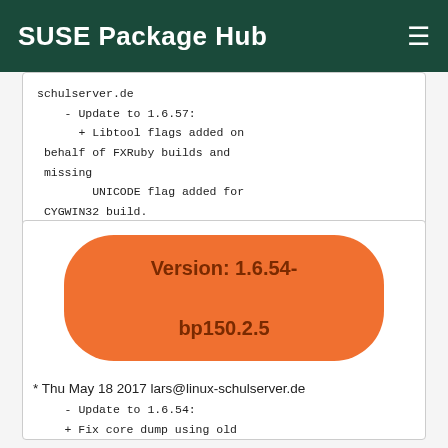SUSE Package Hub
schulserver.de
    - Update to 1.6.57:
      + Libtool flags added on behalf of FXRuby builds and missing
          UNICODE flag added for CYGWIN32 build.
      + Problem fixed in FXString vformat().
      + Fix FXMemoryStream position() API: error code was set moving
          stream position to end of buffer.
Version: 1.6.54-

bp150.2.5
* Thu May 18 2017 lars@linux-schulserver.de
    - Update to 1.6.54:
      + Fix core dump using old GNU C Library or CYGWIN inside
          FXString::vformat.cpp.